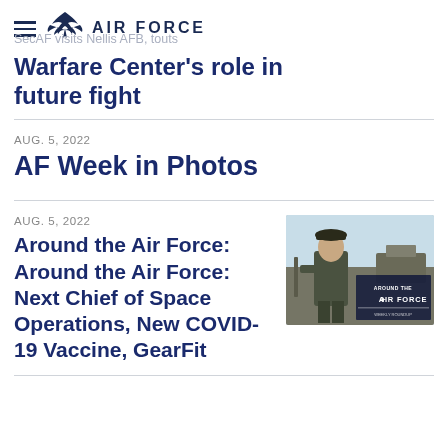AIR FORCE
SecAF visits Nellis AFB, touts
Warfare Center's role in future fight
AUG. 5, 2022
AF Week in Photos
AUG. 5, 2022
Around the Air Force: Around the Air Force: Next Chief of Space Operations, New COVID-19 Vaccine, GearFit
[Figure (photo): Airman in uniform with Air Force branding overlay thumbnail]